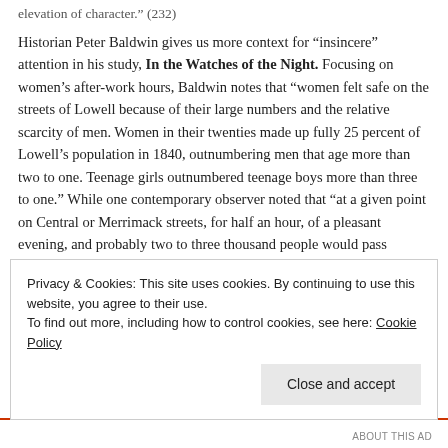elevation of character." (232)
Historian Peter Baldwin gives us more context for “insincere” attention in his study, In the Watches of the Night. Focusing on women’s after-work hours, Baldwin notes that “women felt safe on the streets of Lowell because of their large numbers and the relative scarcity of men. Women in their twenties made up fully 25 percent of Lowell’s population in 1840, outnumbering men that age more than two to one. Teenage girls outnumbered teenage boys more than three to one.” While one contemporary observer noted that “at a given point on Central or Merrimack streets, for half an hour, of a pleasant evening, and probably two to three thousand people would pass him...three fourths are female” (39) women still did not always
Privacy & Cookies: This site uses cookies. By continuing to use this website, you agree to their use.
To find out more, including how to control cookies, see here: Cookie Policy
ABOUT THIS AD